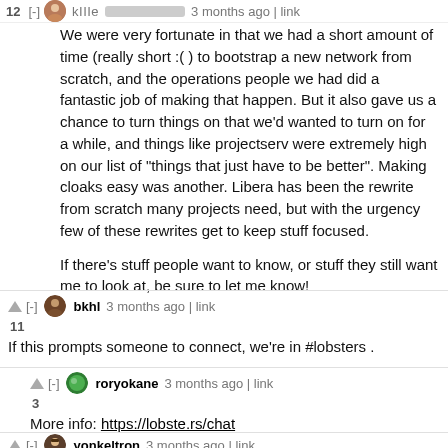12 [-] kline [blurred] 3 months ago | link
We were very fortunate in that we had a short amount of time (really short :( ) to bootstrap a new network from scratch, and the operations people we had did a fantastic job of making that happen. But it also gave us a chance to turn things on that we'd wanted to turn on for a while, and things like projectserv were extremely high on our list of "things that just have to be better". Making cloaks easy was another. Libera has been the rewrite from scratch many projects need, but with the urgency few of these rewrites get to keep stuff focused.

If there's stuff people want to know, or stuff they still want me to look at, be sure to let me know!
▲ [-] bkhl 3 months ago | link
11
If this prompts someone to connect, we're in #lobsters .
▲ [-] roryokane 3 months ago | link
3
More info: https://lobste.rs/chat
▲ [-] yonkeltron 3 months ago | link
5
Was worth reading this just to be able to learn about IRCv3 which seems so cool!